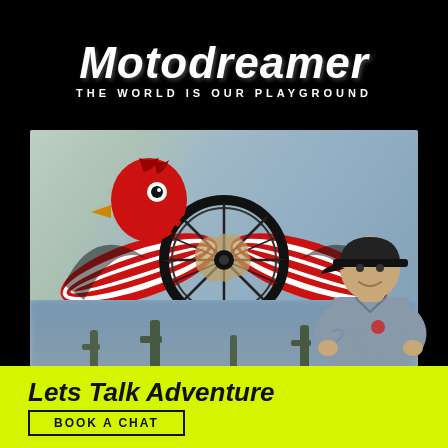Motodreamer — THE WORLD IS OUR PLAYGROUND
[Figure (logo): Motodreamer logo: red eagle/bird head with wings featuring red and white stripes, centered around a motorcycle wheel with world map silhouette in red]
[Figure (photo): Blurred background image showing desert landscape with cacti and sky, reflected/mirrored effect]
[Figure (photo): Man with crossed arms wearing grey polo shirt and black cap, standing in front of the yellow CTA bar]
Lets Talk Adventure
BOOK A CHAT